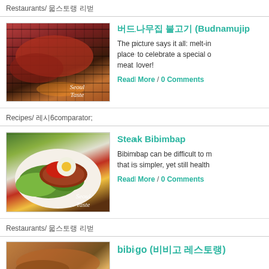Restaurants/ 레스토랑 리뷰
[Figure (photo): Close-up photo of meat grilling on a barbecue grill with Seoul Taste watermark]
버드나무집 불고기 (Budnamuji...)
The picture says it all: melt-in... place to celebrate a special o... meat lover!
Read More / 0 Comments
Recipes/ 레시피
[Figure (photo): Photo of Steak Bibimbap dish with greens, egg, and red sauce, Seoul Taste watermark]
Steak Bibimbap
Bibimbap can be difficult to m... that is simpler, yet still health...
Read More / 0 Comments
Restaurants/ 레스토랑 리뷰
[Figure (photo): Partial photo of food dish, Seoul Taste watermark]
bibigo (비비고 레스토랑)